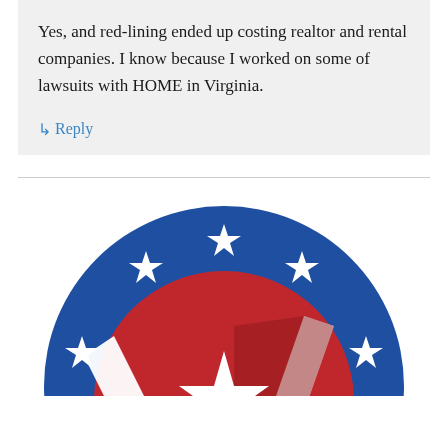Yes, and red-lining ended up costing realtor and rental companies. I know because I worked on some of lawsuits with HOME in Virginia.
↳ Reply
[Figure (logo): Patriotic circular logo with blue background, white stars arranged around the border, and a red, white and blue star/shield design in the center with stripes reminiscent of an American flag.]